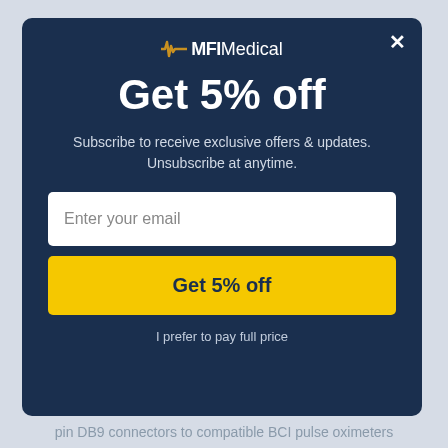[Figure (logo): MFI Medical logo with waveform icon]
Get 5% off
Subscribe to receive exclusive offers & updates.
Unsubscribe at anytime.
Enter your email
Get 5% off
I prefer to pay full price
pin DB9 connectors to compatible BCI pulse oximeters